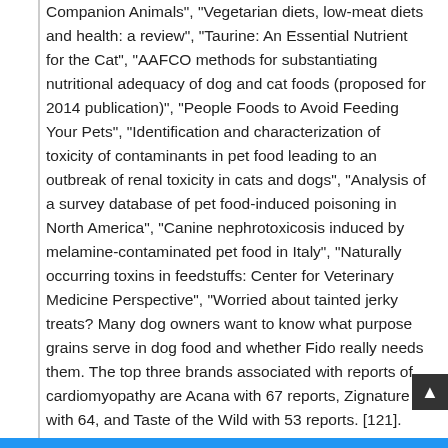Companion Animals", "Vegetarian diets, low-meat diets and health: a review", "Taurine: An Essential Nutrient for the Cat", "AAFCO methods for substantiating nutritional adequacy of dog and cat foods (proposed for 2014 publication)", "People Foods to Avoid Feeding Your Pets", "Identification and characterization of toxicity of contaminants in pet food leading to an outbreak of renal toxicity in cats and dogs", "Analysis of a survey database of pet food-induced poisoning in North America", "Canine nephrotoxicosis induced by melamine-contaminated pet food in Italy", "Naturally occurring toxins in feedstuffs: Center for Veterinary Medicine Perspective", "Worried about tainted jerky treats? Many dog owners want to know what purpose grains serve in dog food and whether Fido really needs them. The top three brands associated with reports of cardiomyopathy are Acana with 67 reports, Zignature with 64, and Taste of the Wild with 53 reports. [121]. The